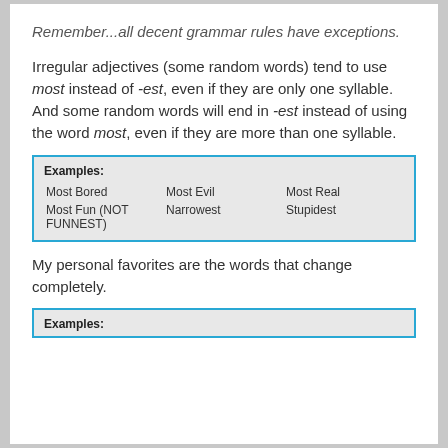Remember...all decent grammar rules have exceptions.
Irregular adjectives (some random words) tend to use most instead of -est, even if they are only one syllable. And some random words will end in -est instead of using the word most, even if they are more than one syllable.
| Most Bored | Most Evil | Most Real |
| Most Fun (NOT FUNNEST) | Narrowest | Stupidest |
My personal favorites are the words that change completely.
Examples: